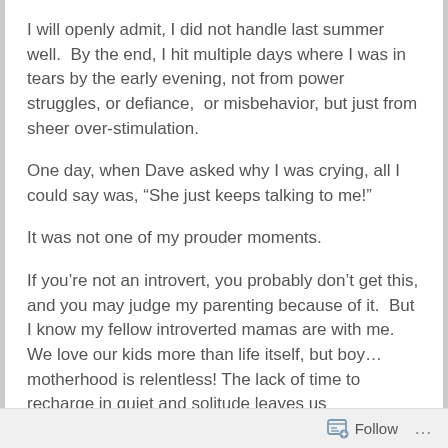I will openly admit, I did not handle last summer well.  By the end, I hit multiple days where I was in tears by the early evening, not from power struggles, or defiance,  or misbehavior, but just from sheer over-stimulation.
One day, when Dave asked why I was crying, all I could say was, “She just keeps talking to me!”
It was not one of my prouder moments.
If you’re not an introvert, you probably don’t get this, and you may judge my parenting because of it.  But I know my fellow introverted mamas are with me.  We love our kids more than life itself, but boy…motherhood is relentless! The lack of time to recharge in quiet and solitude leaves us